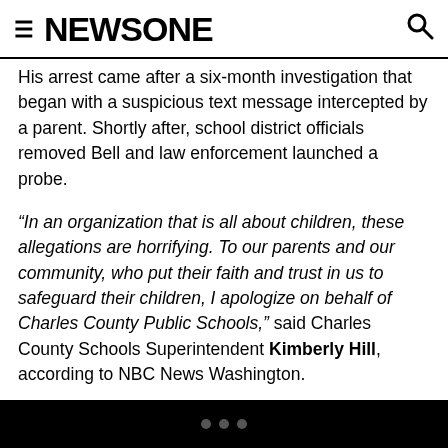NEWSONE
His arrest came after a six-month investigation that began with a suspicious text message intercepted by a parent. Shortly after, school district officials removed Bell and law enforcement launched a probe.
“In an organization that is all about children, these allegations are horrifying. To our parents and our community, who put their faith and trust in us to safeguard their children, I apologize on behalf of Charles County Public Schools,” said Charles County Schools Superintendent Kimberly Hill, according to NBC News Washington.
Many are asking why it took authorities six months to
• • •